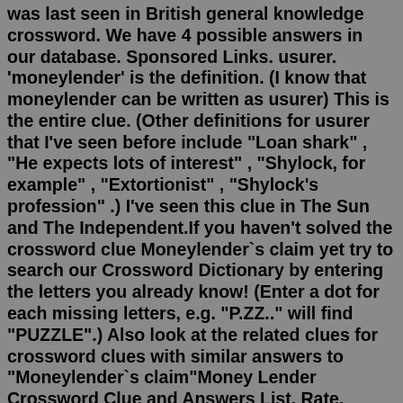was last seen in British general knowledge crossword. We have 4 possible answers in our database. Sponsored Links. usurer. 'moneylender' is the definition. (I know that moneylender can be written as usurer) This is the entire clue. (Other definitions for usurer that I've seen before include "Loan shark" , "He expects lots of interest" , "Shylock, for example" , "Extortionist" , "Shylock's profession" .) I've seen this clue in The Sun and The Independent.If you haven't solved the crossword clue Moneylender`s claim yet try to search our Crossword Dictionary by entering the letters you already know! (Enter a dot for each missing letters, e.g. "P.ZZ.." will find "PUZZLE".) Also look at the related clues for crossword clues with similar answers to "Moneylender`s claim"Money Lender Crossword Clue and Answers List. Rate. Answer. Clue. USURER. Money lender. BLOODSUCKER. A hard and exacting master, landlord, or money lender; an extortioner. LOMBARD.Crossword Clue. The crossword clue Illicit moneylender with 6 letters was